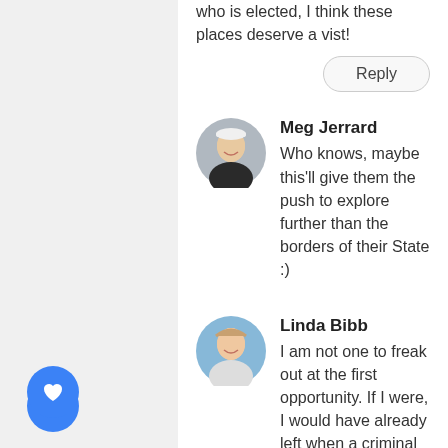who is elected, I think these places deserve a vist!
Reply
Meg Jerrard
Who knows, maybe this'll give them the push to explore further than the borders of their State :)
Linda Bibb
I am not one to freak out at the first opportunity. If I were, I would have already left when a criminal like